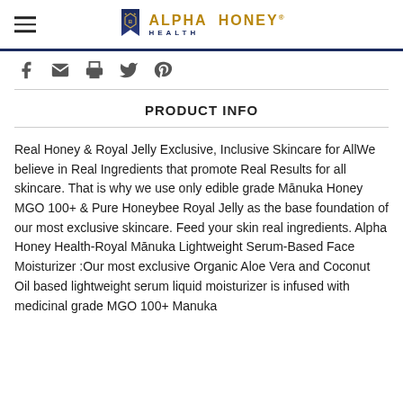Alpha Honey Health — logo and navigation header
[Figure (logo): Alpha Honey Health logo with crown icon and brand name in gold, HEALTH subtitle in navy blue]
PRODUCT INFO
Real Honey & Royal Jelly Exclusive, Inclusive Skincare for AllWe believe in Real Ingredients that promote Real Results for all skincare. That is why we use only edible grade Mānuka Honey MGO 100+ & Pure Honeybee Royal Jelly as the base foundation of our most exclusive skincare. Feed your skin real ingredients. Alpha Honey Health-Royal Mānuka Lightweight Serum-Based Face Moisturizer :Our most exclusive Organic Aloe Vera and Coconut Oil based lightweight serum liquid moisturizer is infused with medicinal grade MGO 100+ Manuka